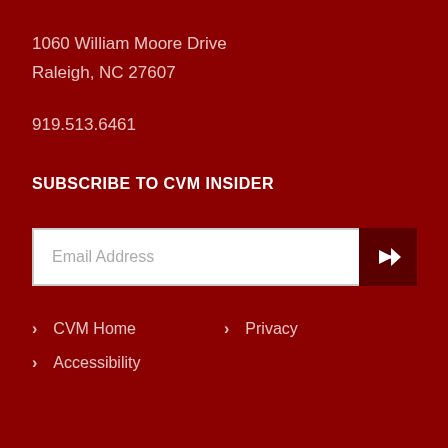1060 William Moore Drive
Raleigh, NC 27607
919.513.6461
SUBSCRIBE TO CVM INSIDER
[Figure (other): Email address input field with submit arrow button]
CVM Home
Privacy
Accessibility